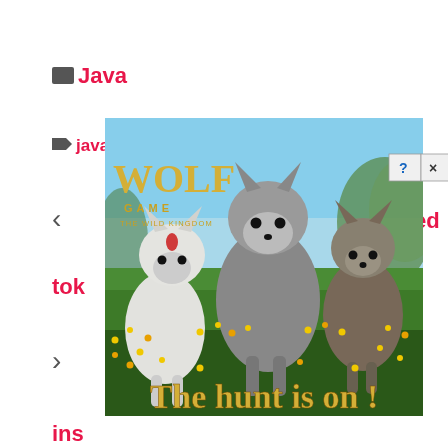[Figure (screenshot): Screenshot of a web browser or application showing a Java-related page with folder and tag navigation elements. A pop-up advertisement for 'Wolf Game: The Wild Kingdom' overlays the content, showing three wolves standing in a flower meadow with the text 'The Hunt is On!' and a close button. The background shows partial text in red including 'Java', 'java', 'tok', 'ins', navigation arrows, and UI buttons in red and purple.]